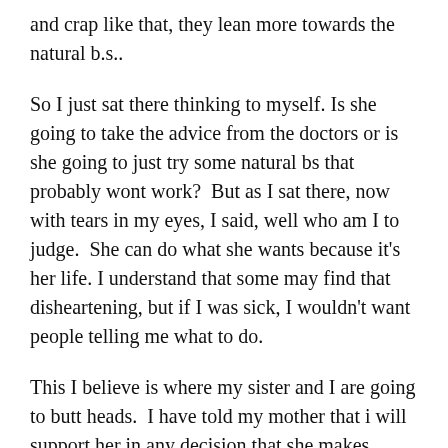and crap like that, they lean more towards the natural b.s..
So I just sat there thinking to myself. Is she going to take the advice from the doctors or is she going to just try some natural bs that probably wont work?  But as I sat there, now with tears in my eyes, I said, well who am I to judge.  She can do what she wants because it’s her life. I understand that some may find that disheartening, but if I was sick, I wouldn’t want people telling me what to do.
This I believe is where my sister and I are going to butt heads.  I have told my mother that i will support her in any decision that she makes. Mind you, ANY DECISION THAT SHE MAKES, not what my sister wants or what my stepdad wants.  My sister on the other hand wants